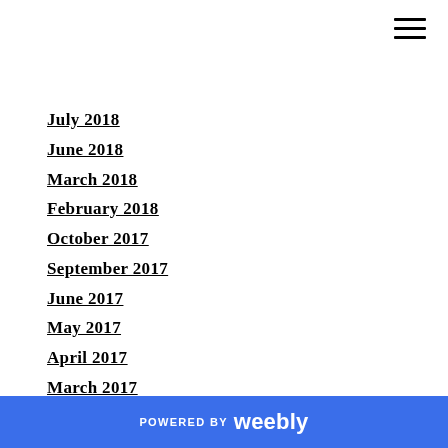July 2018
June 2018
March 2018
February 2018
October 2017
September 2017
June 2017
May 2017
April 2017
March 2017
February 2017
January 2017
December 2016
November 2016
October 2016
POWERED BY weebly